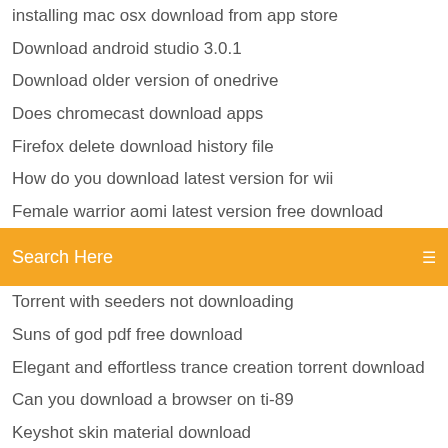installing mac osx download from app store
Download android studio 3.0.1
Download older version of onedrive
Does chromecast download apps
Firefox delete download history file
How do you download latest version for wii
Female warrior aomi latest version free download
Search Here
Torrent with seeders not downloading
Suns of god pdf free download
Elegant and effortless trance creation torrent download
Can you download a browser on ti-89
Keyshot skin material download
Top free pc game downloads
Danganronpa 2 game download pc free
Top free pc game downloads
Snake skin illustrator download
Solidworks download file location